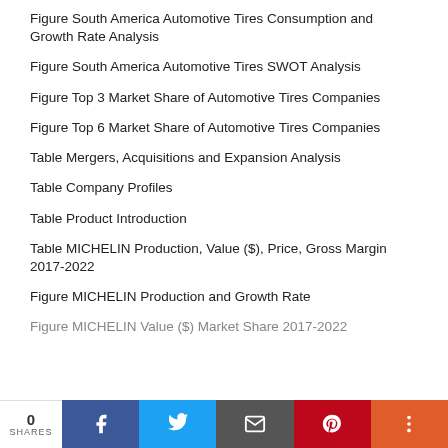Figure South America Automotive Tires Consumption and Growth Rate Analysis
Figure South America Automotive Tires SWOT Analysis
Figure Top 3 Market Share of Automotive Tires Companies
Figure Top 6 Market Share of Automotive Tires Companies
Table Mergers, Acquisitions and Expansion Analysis
Table Company Profiles
Table Product Introduction
Table MICHELIN Production, Value ($), Price, Gross Margin 2017-2022
Figure MICHELIN Production and Growth Rate
Figure MICHELIN Value ($) Market Share 2017-2022